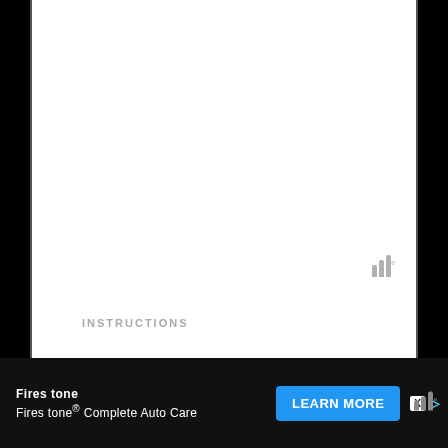[Figure (photo): Empty white image area with watermark logo (three bars with degree symbol) in lower right corner]
INSTRUCTIONS
1 Marinate Chicken Thighs – In a
[Figure (other): Advertisement bar: Firestone Complete Auto Care with LEARN MORE button]